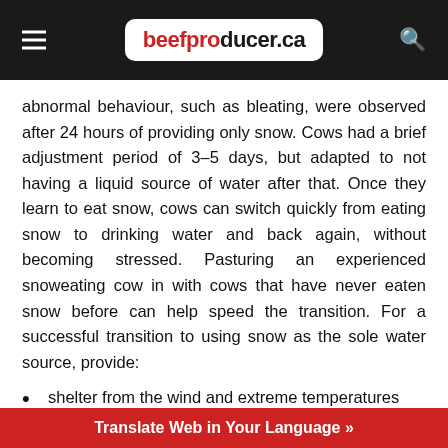beefproducer.ca
abnormal behaviour, such as bleating, were observed after 24 hours of providing only snow. Cows had a brief adjustment period of 3–5 days, but adapted to not having a liquid source of water after that. Once they learn to eat snow, cows can switch quickly from eating snow to drinking water and back again, without becoming stressed. Pasturing an experienced snoweating cow in with cows that have never eaten snow before can help speed the transition. For a successful transition to using snow as the sole water source, provide:
shelter from the wind and extreme temperatures (animals must have adequate fleece or hair coat)
soft, wet snow for eating (snow with hard granular ice particles in it may cause lower intake and result in decreased fe...
Translate Web in Your Language »